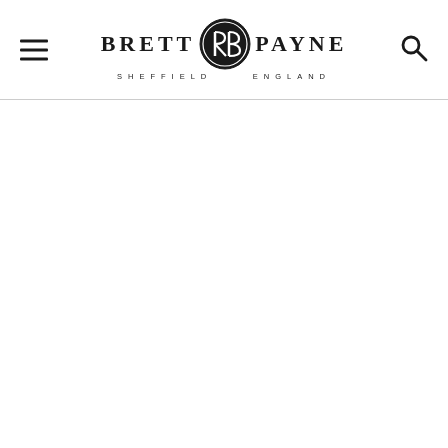Brett Payne Sheffield England — logo header with menu and search icons